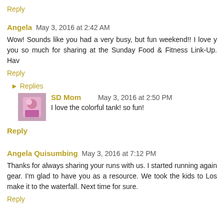Reply
Angela  May 3, 2016 at 2:42 AM
Wow! Sounds like you had a very busy, but fun weekend!! I love you so much for sharing at the Sunday Food & Fitness Link-Up. Hav
Reply
▸ Replies
SD Mom   May 3, 2016 at 2:50 PM
I love the colorful tank! so fun!
Reply
Angela Quisumbing  May 3, 2016 at 7:12 PM
Thanks for always sharing your runs with us. I started running again gear. I'm glad to have you as a resource. We took the kids to Los make it to the waterfall. Next time for sure.
Reply